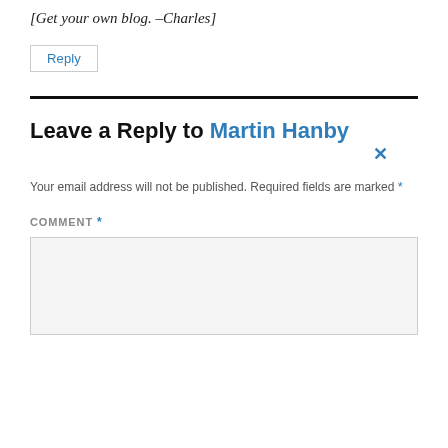[Get your own blog. –Charles]
Reply
Leave a Reply to Martin Hanby ×
Your email address will not be published. Required fields are marked *
COMMENT *
[Figure (other): Empty comment text area input box]